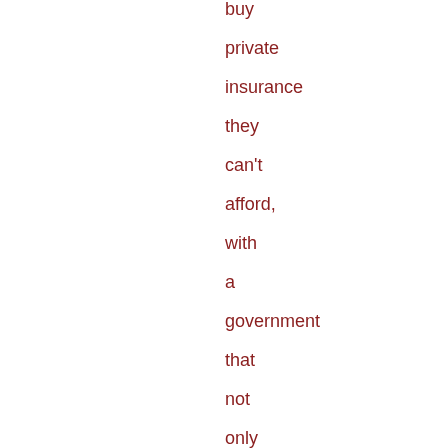buy private insurance they can't afford, with a government that not only excuses the torture regimes of the past but dramatically expands them while giving itself license to murder